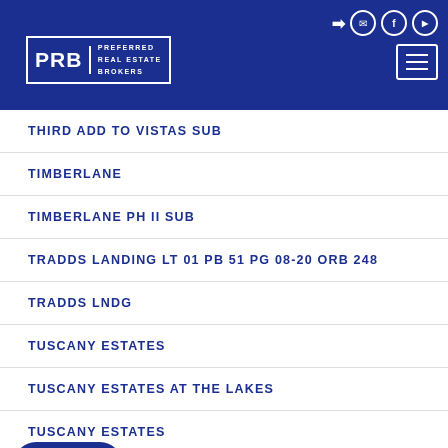Preferred Real Estate Brokers
THIRD ADD TO VISTAS SUB
TIMBERLANE
TIMBERLANE PH II SUB
TRADDS LANDING LT 01 PB 51 PG 08-20 ORB 248
TRADDS LNDG
TUSCANY ESTATES
TUSCANY ESTATES AT THE LAKES
TUSCANY ESTATES